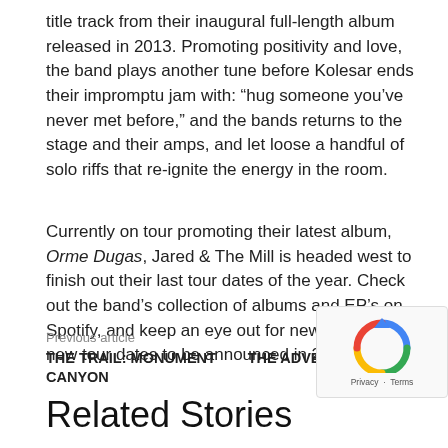title track from their inaugural full-length album released in 2013. Promoting positivity and love, the band plays another tune before Kolesar ends their impromptu jam with: “hug someone you’ve never met before,” and the bands returns to the stage and their amps, and let loose a handful of solo riffs that re-ignite the energy in the room.
Currently on tour promoting their latest album, Orme Dugas, Jared & The Mill is headed west to finish out their last tour dates of the year. Check out the band’s collection of albums and EP’s on Spotify, and keep an eye out for new music and new tour dates to be announced in 2017.
Previous article
THE TRAIL: MONUMENT CANYON
Next article
THE ADVENTURE WITHIN
Related Stories